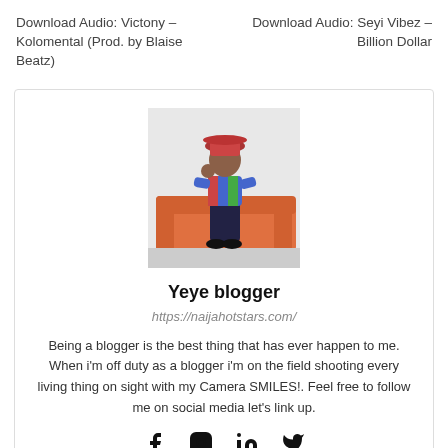Download Audio: Victony – Kolomental (Prod. by Blaise Beatz)
Download Audio: Seyi Vibez – Billion Dollar
[Figure (photo): Person in colorful outfit and hat sitting on an orange couch]
Yeye blogger
https://naijahotstars.com/
Being a blogger is the best thing that has ever happen to me. When i'm off duty as a blogger i'm on the field shooting every living thing on sight with my Camera SMILES!. Feel free to follow me on social media let's link up.
[Figure (infographic): Social media icons: Facebook, Instagram, LinkedIn, Twitter]